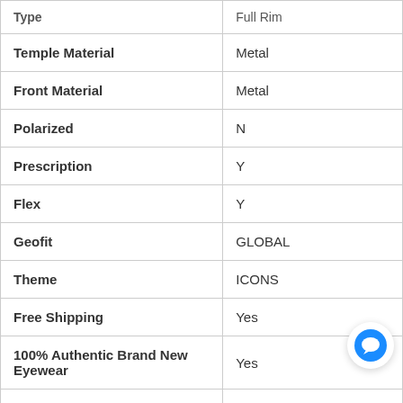| Type | Full Rim |
| --- | --- |
| Temple Material | Metal |
| Front Material | Metal |
| Polarized | N |
| Prescription | Y |
| Flex | Y |
| Geofit | GLOBAL |
| Theme | ICONS |
| Free Shipping | Yes |
| 100% Authentic Brand New Eyewear | Yes |
|  |  |